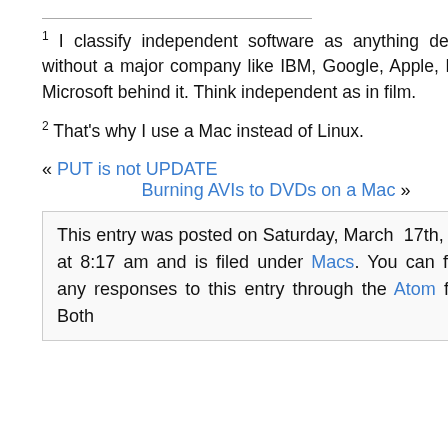1 I classify independent software as anything developed without a major company like IBM, Google, Apple, Intuit, or Microsoft behind it. Think independent as in film.
2 That's why I use a Mac instead of Linux.
« PUT is not UPDATE  Burning AVIs to DVDs on a Mac »
This entry was posted on Saturday, March 17th, 2007 at 8:17 am and is filed under Macs. You can follow any responses to this entry through the Atom feed. Both